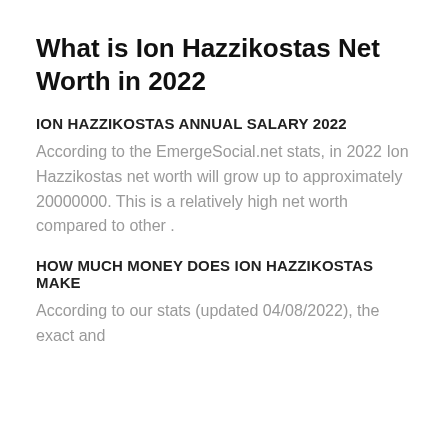What is Ion Hazzikostas Net Worth in 2022
ION HAZZIKOSTAS ANNUAL SALARY 2022
According to the EmergeSocial.net stats, in 2022 Ion Hazzikostas net worth will grow up to approximately 20000000. This is a relatively high net worth compared to other .
HOW MUCH MONEY DOES ION HAZZIKOSTAS MAKE
According to our stats (updated 04/08/2022), the exact and